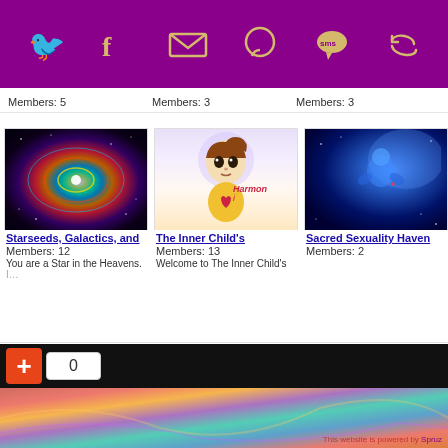[Purple bar with social share icons: Twitter, Facebook, Email, WhatsApp, SMS, Share]
Members: 5   Members: 3   Members: 3
[Figure (photo): Galaxy spiral image with colorful rings - Starseeds, Galactics group thumbnail]
[Figure (illustration): Cute anime-style child/baby illustration holding heart - Inner Child group thumbnail with Harmoni text]
[Figure (photo): Blue glowing figure in space - Sacred Sexuality Haven group thumbnail]
Starseeds, Galactics, and
Members: 12
You are a Star in the Heavens.
The Inner Child's
Members: 13
Welcome to The Inner Child's Pl…
Sacred Sexuality Haven
Members: 2
[Figure (screenshot): Bottom bar with orange plus button and zero counter on dark background]
[Figure (photo): Colorful abstract swirling background at page bottom]
This website is powered by Spruz